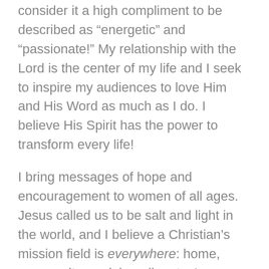consider it a high compliment to be described as “energetic” and “passionate!” My relationship with the Lord is the center of my life and I seek to inspire my audiences to love Him and His Word as much as I do. I believe His Spirit has the power to transform every life!
I bring messages of hope and encouragement to women of all ages. Jesus called us to be salt and light in the world, and I believe a Christian’s mission field is everywhere: home, community, social media, etc. I encourage women to find creative ways to share His love, and my interactive speaking style gives me an immediate connection with groups of all sizes.